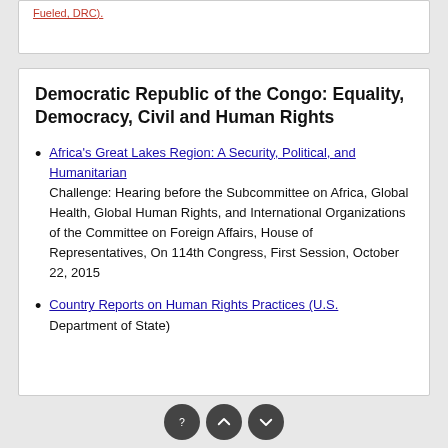Fueled, DRC).
Democratic Republic of the Congo: Equality, Democracy, Civil and Human Rights
Africa's Great Lakes Region: A Security, Political, and Humanitarian Challenge: Hearing before the Subcommittee on Africa, Global Health, Global Human Rights, and International Organizations of the Committee on Foreign Affairs, House of Representatives, On 114th Congress, First Session, October 22, 2015
Country Reports on Human Rights Practices (U.S. Department of State)